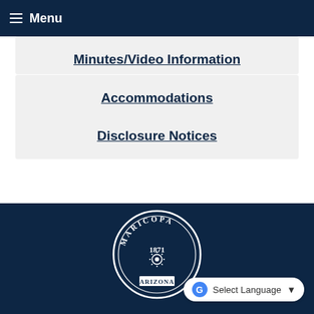Menu
Minutes/Video Information
Accommodations
Disclosure Notices
[Figure (logo): Maricopa Arizona seal/logo in white on dark navy background, circular with text MARICOPA 1871 ARIZONA]
Select Language